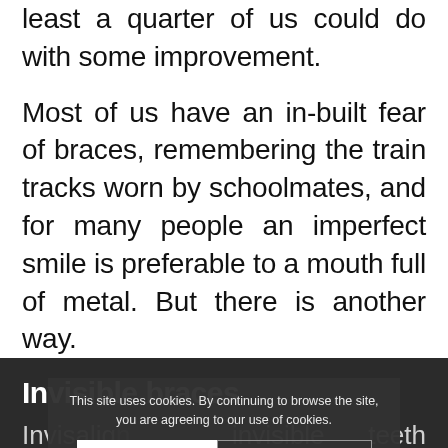least a quarter of us could do with some improvement.
Most of us have an in-built fear of braces, remembering the train tracks worn by schoolmates, and for many people an imperfect smile is preferable to a mouth full of metal. But there is another way.
Invisible braces
Invisalign is an invisible teeth straightening system, which we have
This site uses cookies. By continuing to browse the site, you are agreeing to our use of cookies.